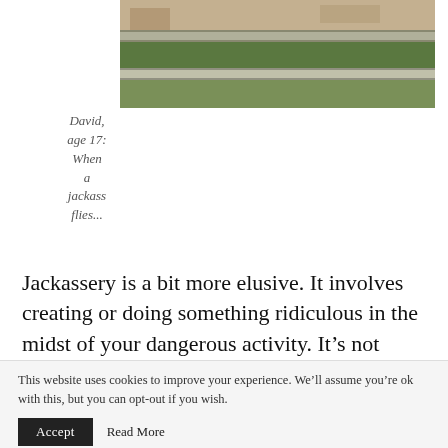[Figure (photo): Outdoor photo showing railroad tracks or wooden fence rails with green grass/weeds growing between them and sandy/dirt ground visible.]
David, age 17: When a jackass flies...
Jackassery is a bit more elusive. It involves creating or doing something ridiculous in the midst of your dangerous activity. It's not strictly for idiots: jackassery requires vision and improvisation. Don't have a piece of essential equipment for your ridiculous idea? Who cares? Let's do this!
This website uses cookies to improve your experience. We'll assume you're ok with this, but you can opt-out if you wish. Accept Read More